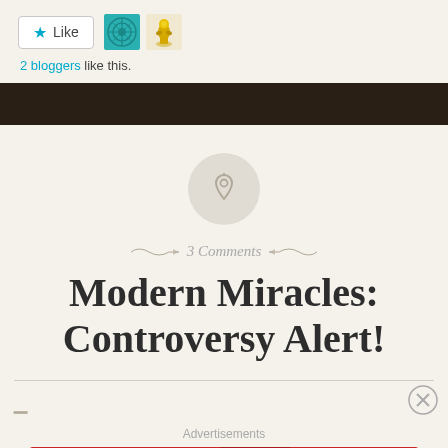Like  2 bloggers like this.
[Figure (other): Dark brown horizontal divider bar]
[Figure (other): Gray circular pin/pushpin icon]
3 Comments
Modern Miracles: Controversy Alert!
[Figure (other): Pocket Casts advertisement banner: 'An app by listeners, for listeners.' with red background and phone graphic]